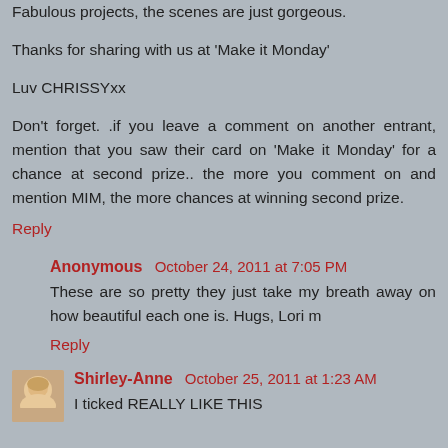Fabulous projects, the scenes are just gorgeous.
Thanks for sharing with us at 'Make it Monday'
Luv CHRISSYxx
Don't forget. .if you leave a comment on another entrant, mention that you saw their card on 'Make it Monday' for a chance at second prize.. the more you comment on and mention MIM, the more chances at winning second prize.
Reply
Anonymous October 24, 2011 at 7:05 PM
These are so pretty they just take my breath away on how beautiful each one is. Hugs, Lori m
Reply
Shirley-Anne October 25, 2011 at 1:23 AM
I ticked REALLY LIKE THIS